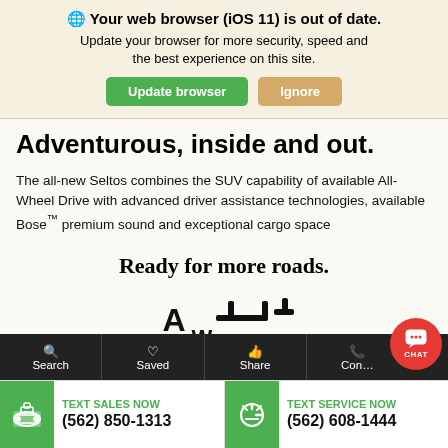🌐 Your web browser (iOS 11) is out of date. Update your browser for more security, speed and the best experience on this site.
Update browser | Ignore
Adventurous, inside and out.
The all-new Seltos combines the SUV capability of available All-Wheel Drive with advanced driver assistance technologies, available Bose™ premium sound and exceptional cargo space
Ready for more roads.
[Figure (illustration): AWD (All-Wheel Drive) icon showing drivetrain diagram with axle and wheel symbols]
Search | Saved | Share | Contact | TEXT SALES NOW (562) 850-1313 | TEXT SERVICE NOW (562) 608-1444 | CHAT